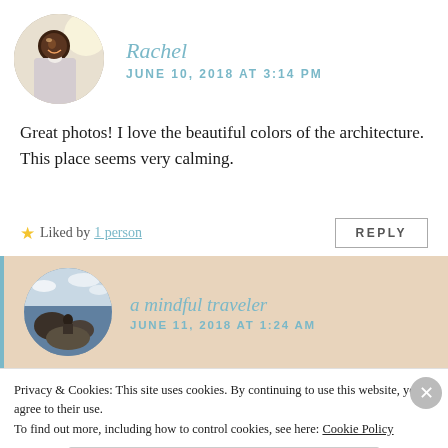[Figure (photo): Circular avatar photo of Rachel, a woman smiling, indoor setting with bright light]
Rachel
JUNE 10, 2018 AT 3:14 PM
Great photos! I love the beautiful colors of the architecture. This place seems very calming.
Liked by 1 person
REPLY
[Figure (photo): Circular avatar photo for 'a mindful traveler', showing a rocky coastal landscape]
a mindful traveler
JUNE 11, 2018 AT 1:24 AM
Privacy & Cookies: This site uses cookies. By continuing to use this website, you agree to their use.
To find out more, including how to control cookies, see here: Cookie Policy
Close and accept